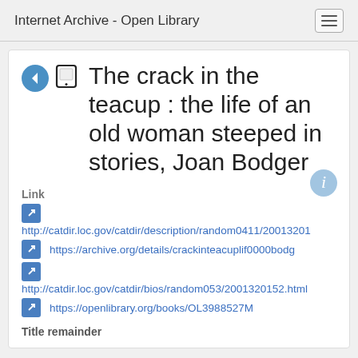Internet Archive - Open Library
The crack in the teacup : the life of an old woman steeped in stories, Joan Bodger
Link
http://catdir.loc.gov/catdir/description/random0411/20013201
https://archive.org/details/crackinteacuplif0000bodg
http://catdir.loc.gov/catdir/bios/random053/2001320152.html
https://openlibrary.org/books/OL3988527M
Title remainder